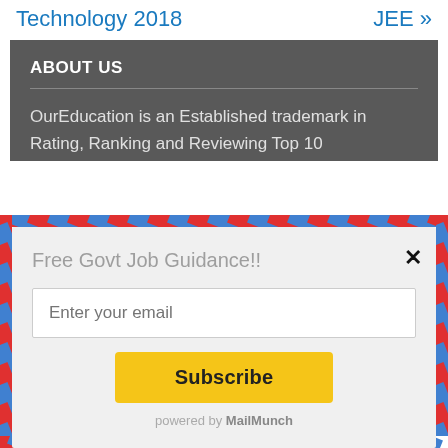Technology 2018    JEE »
ABOUT US
OurEducation is an Established trademark in Rating, Ranking and Reviewing Top 10
Free Govt Job Guidance!!
Enter your email
Subscribe
powered by MailMunch